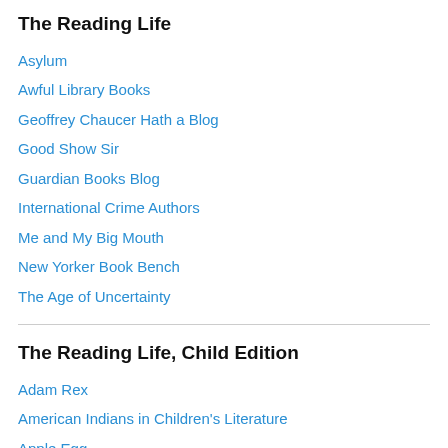The Reading Life
Asylum
Awful Library Books
Geoffrey Chaucer Hath a Blog
Good Show Sir
Guardian Books Blog
International Crime Authors
Me and My Big Mouth
New Yorker Book Bench
The Age of Uncertainty
The Reading Life, Child Edition
Adam Rex
American Indians in Children's Literature
Apple Egg
Children's Illustration
Children's/Fantasy Illustrations
Collecting Children's Books